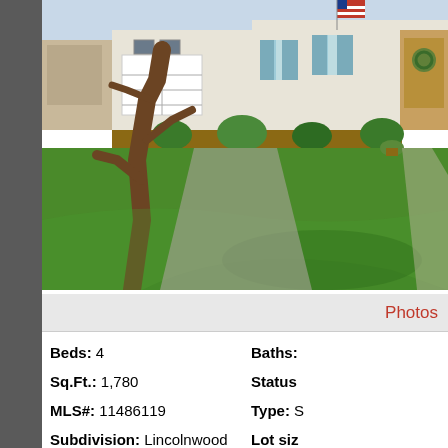[Figure (photo): Exterior photo of a single-story house with white/cream siding, attached garage, blue shutters, an American flag, and a large tree in the foreground on a green lawn]
Photos
Beds: 4
Baths:
Sq.Ft.: 1,780
Status:
MLS#: 11486119
Type: S
Subdivision: Lincolnwood
Lot siz
Year built: 1967
View Details